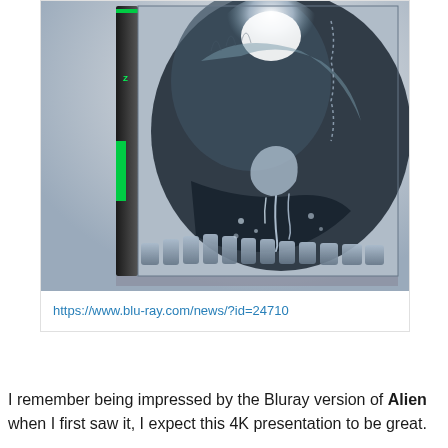[Figure (photo): A Blu-ray steelbook box set featuring the Alien xenomorph creature on its cover, with a metallic silver/chrome appearance against a light background. The creature has a distinctive elongated head and visible teeth. The box has a green spine.]
https://www.blu-ray.com/news/?id=24710
I remember being impressed by the Bluray version of Alien when I first saw it, I expect this 4K presentation to be great.